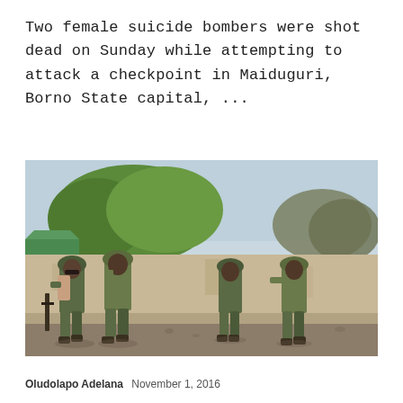Two female suicide bombers were shot dead on Sunday while attempting to attack a checkpoint in Maiduguri, Borno State capital, ...
[Figure (photo): Four soldiers in camouflage uniforms and helmets walking along a street in front of a worn concrete wall, with trees visible in the background. One soldier carries a rifle. Setting appears to be Maiduguri, Nigeria.]
Oludolapo Adelana   November 1, 2016